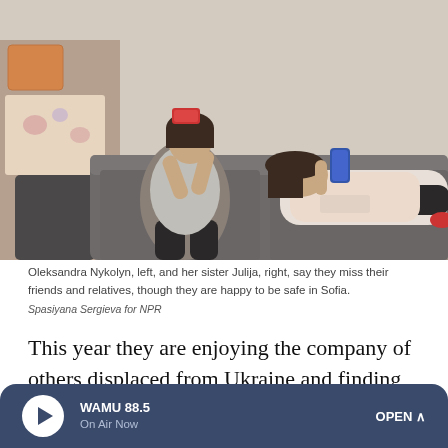[Figure (photo): Two young women/girls lying and sitting on a gray sofa, both looking at their smartphones. The room has colorful pillows and blankets on the left side.]
Oleksandra Nykolyn, left, and her sister Julija, right, say they miss their friends and relatives, though they are happy to be safe in Sofia.
Spasiyana Sergieva for NPR
This year they are enjoying the company of others displaced from Ukraine and finding some solace in sharing their stories. These moms and kids have left husbands and dads, sons and brothers behind. Ukrainian men between the ages